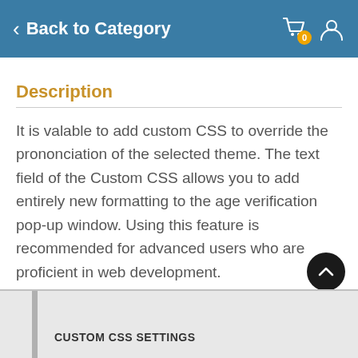Back to Category
Description
It is valable to add custom CSS to override the prononciation of the selected theme. The text field of the Custom CSS allows you to add entirely new formatting to the age verification pop-up window. Using this feature is recommended for advanced users who are proficient in web development.
CUSTOM CSS SETTINGS